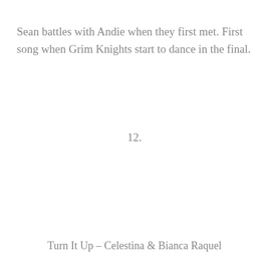Sean battles with Andie when they first met. First song when Grim Knights start to dance in the final.
12.
Turn It Up – Celestina & Bianca Raquel